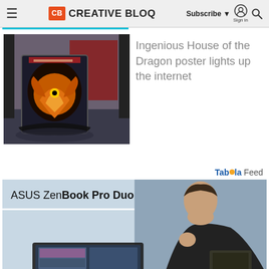Creative Bloq – Subscribe | Sign in | Search
[Figure (screenshot): Creative Bloq website screenshot showing navigation header with hamburger menu, CB logo, Creative Bloq wordmark, Subscribe button, Sign in icon, and Search icon]
[Figure (photo): Photo of a House of the Dragon poster displayed outdoors, showing a dragon artwork, propped against a reflective wet surface]
Ingenious House of the Dragon poster lights up the internet
Taboola Feed
[Figure (photo): ASUS ZenBook Pro Duo advertisement banner showing a man in a dark jacket looking thoughtfully at a laptop with a dual screen setup]